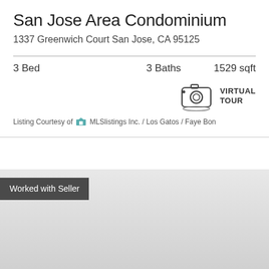San Jose Area Condominium
1337 Greenwich Court San Jose, CA 95125
3 Bed   3 Baths   1529 sqft
[Figure (illustration): Camera icon for Virtual Tour]
VIRTUAL TOUR
Listing Courtesy of MLSlistings Inc. / Los Gatos / Faye Bon
Worked with Seller